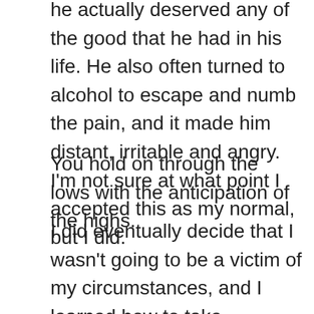he actually deserved any of the good that he had in his life. He also often turned to alcohol to escape and numb the pain, and it made him distant, irritable and angry. I'm not sure at what point I accepted this as my normal, but I did.
You hold on through the lows with the anticipation of the highs.
I did eventually decide that I wasn't going to be a victim of my circumstances, and I learned how to take responsibility for my own happiness, despite which version of Jesse was going to show up that day. I had to in order to survive. For a long time I was also close minded and thought mental illness was easy to fix if the person just tried hard enough, and addiction wasn't a